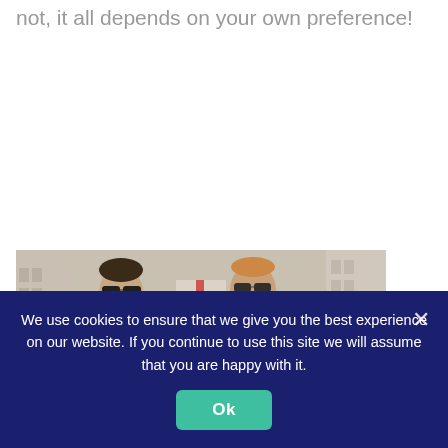not, it all depends on your own preference!
[Figure (photo): Two men wearing sunglasses standing on a city street, one in a dark jacket and one in a light/white blazer with a denim shirt, urban buildings and a flag visible in the background.]
We use cookies to ensure that we give you the best experience on our website. If you continue to use this site we will assume that you are happy with it.